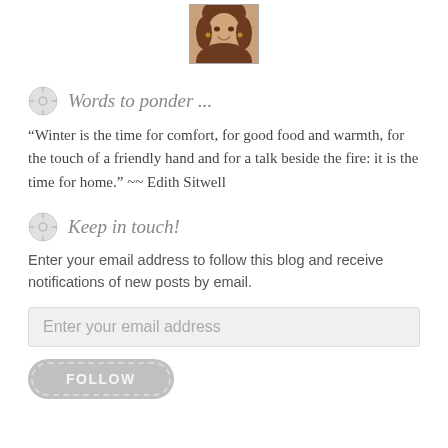[Figure (photo): Small circular portrait photo of a woman smiling, with earrings, cropped headshot]
Words to ponder ...
“Winter is the time for comfort, for good food and warmth, for the touch of a friendly hand and for a talk beside the fire: it is the time for home.” ~~ Edith Sitwell
Keep in touch!
Enter your email address to follow this blog and receive notifications of new posts by email.
Enter your email address
FOLLOW